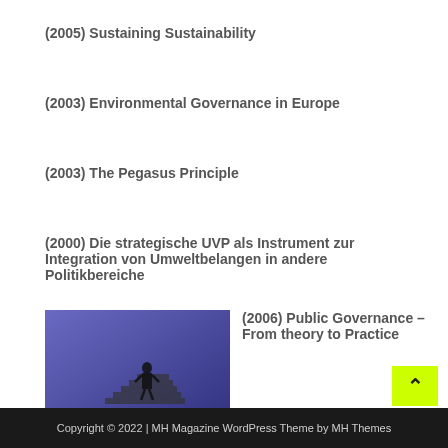(2005) Sustaining Sustainability
(2003) Environmental Governance in Europe
(2003) The Pegasus Principle
(2000) Die strategische UVP als Instrument zur Integration von Umweltbelangen in andere Politikbereiche
[Figure (photo): Book cover with purple/blue background showing a silhouette figure on stairs]
(2006) Public Governance – From theory to Practice
Copyright © 2022 | MH Magazine WordPress Theme by MH Themes